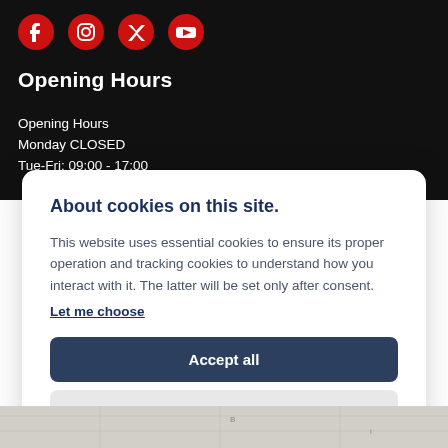[Figure (illustration): Social media icons: Facebook, Instagram, Twitter, YouTube — all in red on black background]
Opening Hours
Opening Hours
Monday CLOSED
Tue-Fri: 09:00 - 17:00
About cookies on this site.
This website uses essential cookies to ensure its proper operation and tracking cookies to understand how you interact with it. The latter will be set only after consent.
Let me choose
Accept all
Reject all
[Figure (map): Map area visible at the bottom of the page]